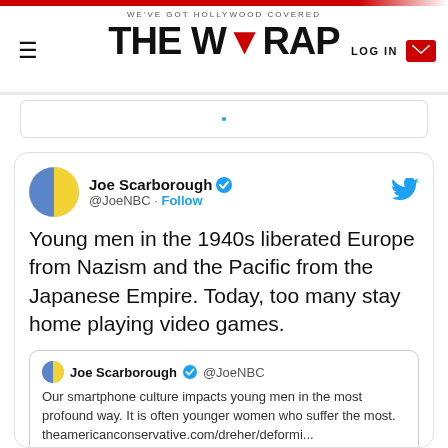WE'VE GOT HOLLYWOOD COVERED — THE WRAP — LOG IN
[Figure (screenshot): Twitter/X embedded tweet card from Joe Scarborough (@JoeNBC) with verified badge and Follow button. Tweet text: 'Young men in the 1940s liberated Europe from Nazism and the Pacific from the Japanese Empire. Today, too many stay home playing video games.' Quoted tweet from same account: 'Our smartphone culture impacts young men in the most profound way. It is often younger women who suffer the most. theamericanconservative.com/dreher/deformi...' Timestamp: 12:33 PM · Aug 7, 2017. Likes: 2.5K. Actions: Reply, Copy link.]